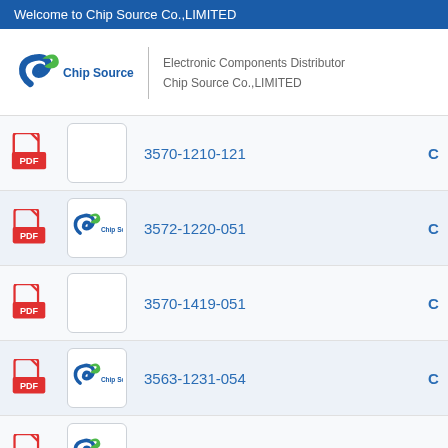Welcome to Chip Source Co.,LIMITED
[Figure (logo): Chip Source logo with blue swoosh and green leaf, text 'Chip Source', tagline 'Electronic Components Distributor Chip Source Co.,LIMITED']
| PDF | Image | Part Number |  |
| --- | --- | --- | --- |
| [PDF icon] |  | 3570-1210-121 | C |
| [PDF icon] | [Chip Source logo] | 3572-1220-051 | C |
| [PDF icon] |  | 3570-1419-051 | C |
| [PDF icon] | [Chip Source logo] | 3563-1231-054 | C |
| [PDF icon] | [Chip Source logo] | 3570-1517-053 | C |
| [PDF icon] | [Chip Source logo] |  |  |